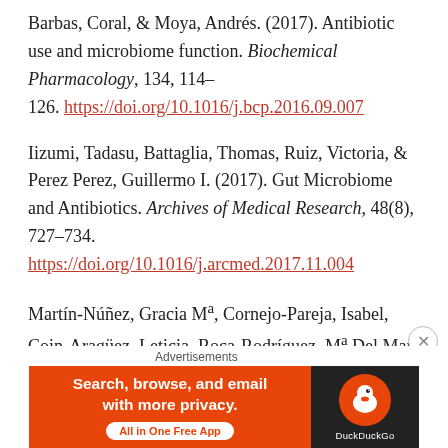Barbas, Coral, & Moya, Andrés. (2017). Antibiotic use and microbiome function. Biochemical Pharmacology, 134, 114–126. https://doi.org/10.1016/j.bcp.2016.09.007
Iizumi, Tadasu, Battaglia, Thomas, Ruiz, Victoria, & Perez Perez, Guillermo I. (2017). Gut Microbiome and Antibiotics. Archives of Medical Research, 48(8), 727–734. https://doi.org/10.1016/j.arcmed.2017.11.004
Martín-Núñez, Gracia Mª, Cornejo-Pareja, Isabel, Coin-Aragüez, Leticia, Roca-Rodríguez, Mª Del Mar, Muñoz-Garach, Araceli, Clemente-Postigo, Mercedes, ...
[Figure (other): DuckDuckGo advertisement banner: 'Search, browse, and email with more privacy. All in One Free App' with DuckDuckGo logo on dark background.]